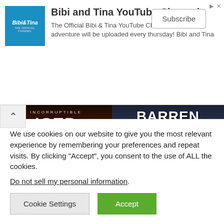[Figure (screenshot): Bibi and Tina YouTube Channel advertisement banner with logo, description text, and Subscribe button]
[Figure (photo): Two album covers side by side: Iced Earth 'Incorruptible' on left with fire/warrior imagery and 'ALBUM REVIEW' label, Barren Earth 'A Complex of Cages' on right with misty city skyline and 'ALBUM REVIEW: A' label]
We use cookies on our website to give you the most relevant experience by remembering your preferences and repeat visits. By clicking "Accept", you consent to the use of ALL the cookies.
Do not sell my personal information.